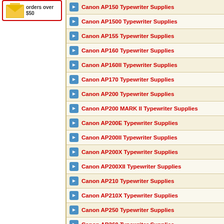[Figure (other): Promotional envelope icon with text 'orders over $50']
Canon AP150 Typewriter Supplies
Canon AP1500 Typewriter Supplies
Canon AP155 Typewriter Supplies
Canon AP160 Typewriter Supplies
Canon AP160II Typewriter Supplies
Canon AP170 Typewriter Supplies
Canon AP200 Typewriter Supplies
Canon AP200 MARK II Typewriter Supplies
Canon AP200E Typewriter Supplies
Canon AP200II Typewriter Supplies
Canon AP200X Typewriter Supplies
Canon AP200XII Typewriter Supplies
Canon AP210 Typewriter Supplies
Canon AP210X Typewriter Supplies
Canon AP250 Typewriter Supplies
Canon AP260 Typewriter Supplies
Canon AP300 Typewriter Supplies
Canon AP300II Typewriter Supplies
Canon AP300X Typewriter Supplies